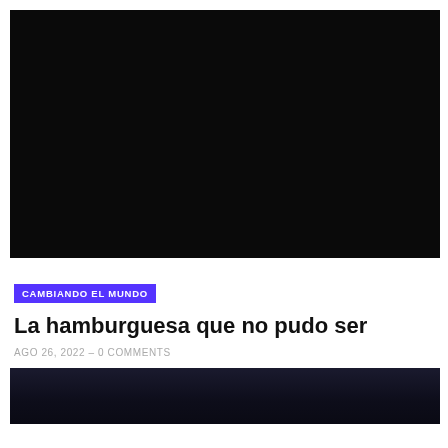[Figure (photo): Large dark/black image at the top of the article, appears nearly completely black]
CAMBIANDO EL MUNDO
La hamburguesa que no pudo ser
AGO 26, 2022  –  0 COMMENTS
[Figure (photo): Partial dark image at the bottom of the page, dark blue-black tones]